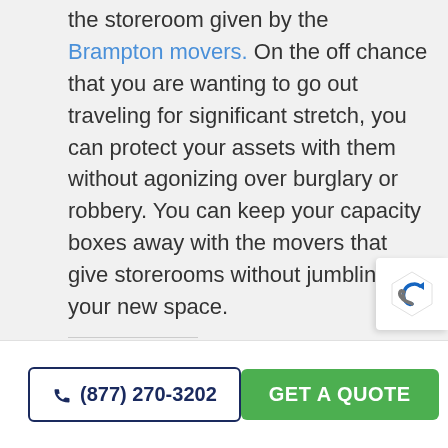the storeroom given by the Brampton movers. On the off chance that you are wanting to go out traveling for significant stretch, you can protect your assets with them without agonizing over burglary or robbery. You can keep your capacity boxes away with the movers that give storerooms without jumbling your new space.
Share this:
[Figure (other): Twitter and Facebook share buttons (circular blue icons) and a reCAPTCHA badge in the bottom right corner]
(877) 270-3202
GET A QUOTE